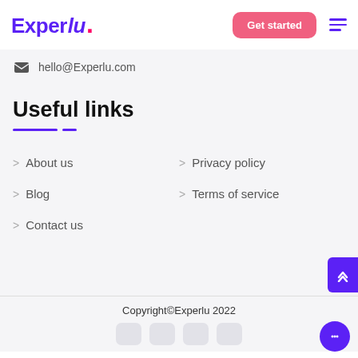Experlu. — Get started
hello@Experlu.com
Useful links
> About us
> Privacy policy
> Blog
> Terms of service
> Contact us
Copyright©Experlu 2022